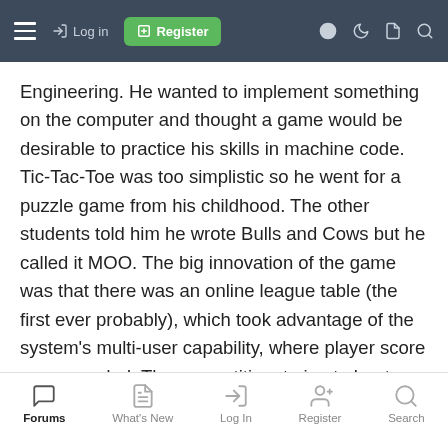☰  → Log in  ⊞ Register  ◉  ☽  ☰  🔍
Engineering. He wanted to implement something on the computer and thought a game would be desirable to practice his skills in machine code. Tic-Tac-Toe was too simplistic so he went for a puzzle game from his childhood. The other students told him he wrote Bulls and Cows but he called it MOO. The big innovation of the game was that there was an online league table (the first ever probably), which took advantage of the system's multi-user capability, where player score was recorded. The competition, trying to beat your fellow students' score is what made this game successful. Ten years later this feature would play a very important role in the rise of arcade video games. Having your initials at the top of the high score table at your local arcade, gave you the incentive to come back to the game again and again.
Forums  What's New  Log In  Register  Search